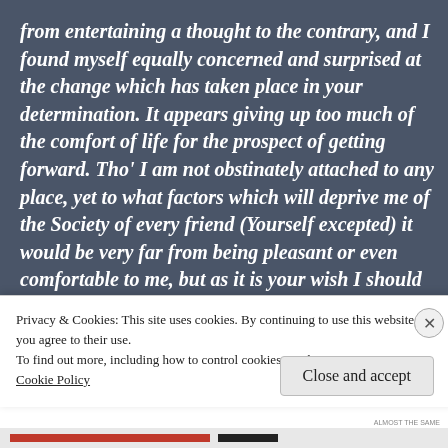from entertaining a thought to the contrary, and I found myself equally concerned and surprised at the change which has taken place in your determination. It appears giving up too much of the comfort of life for the prospect of getting forward. Tho' I am not obstinately attached to any place, yet to what factors which will deprive me of the Society of every friend (Yourself excepted) it would be very far from being pleasant or even comfortable to me, but as it is your wish I should be sincerely glad to think other ways of it
Privacy & Cookies: This site uses cookies. By continuing to use this website, you agree to their use.
To find out more, including how to control cookies, see here:
Cookie Policy
Close and accept